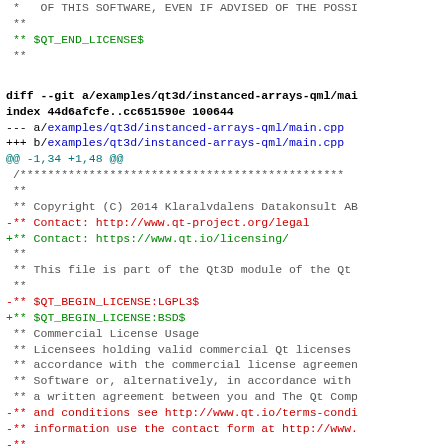* OF THIS SOFTWARE, EVEN IF ADVISED OF THE POSSI...
 **
 ** $QT_END_LICENSE$
 **
diff --git a/examples/qt3d/instanced-arrays-qml/mai...
index 44d6afcfe..cc651590e 100644
--- a/examples/qt3d/instanced-arrays-qml/main.cpp
+++ b/examples/qt3d/instanced-arrays-qml/main.cpp
@@ -1,34 +1,48 @@
 /***...
 **
 ** Copyright (C) 2014 Klaralvdalens Datakonsult AB
-** Contact: http://www.qt-project.org/legal
+** Contact: https://www.qt.io/licensing/
 **
 ** This file is part of the Qt3D module of the Qt
 **
-** $QT_BEGIN_LICENSE:LGPL3$
+** $QT_BEGIN_LICENSE:BSD$
 ** Commercial License Usage
 ** Licensees holding valid commercial Qt licenses
 ** accordance with the commercial license agreemen...
 ** Software or, alternatively, in accordance with
 ** a written agreement between you and The Qt Comp...
-** and conditions see http://www.qt.io/terms-condi...
-** information use the contact form at http://www....
-**
-** GNU Lesser General Public License Usage
-** Alternatively, this file may be used under the
 ** General Public License version 2 as published...